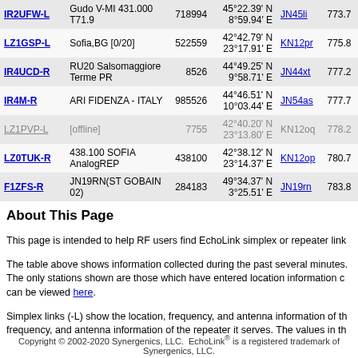| Callsign | Description | Freq | Coordinates | Grid | Dist |
| --- | --- | --- | --- | --- | --- |
| IR2UFW-L | Gudo V-MI 431.000 T71.9 | 718994 | 45°22.39' N 8°59.94' E | JN45li | 773.7 |
| LZ1GSP-L | Sofia,BG [0/20] | 522559 | 42°42.79' N 23°17.91' E | KN12pr | 775.8 |
| IR4UCD-R | RU20 Salsomaggiore Terme PR | 8526 | 44°49.25' N 9°58.71' E | JN44xt | 777.2 |
| IR4M-R | ARI FIDENZA - ITALY | 985526 | 44°46.51' N 10°03.44' E | JN54as | 777.7 |
| LZ1PVP-L | [offline] | 7755 | 42°40.20' N 23°13.80' E | KN12oq | 778.2 |
| LZ0TUK-R | 438.100 SOFIA AnalogREP | 438100 | 42°38.12' N 23°14.37' E | KN12op | 780.7 |
| F1ZFS-R | JN19RN(ST GOBAIN 02) | 284183 | 49°34.37' N 3°25.51' E | JN19rn | 783.8 |
About This Page
This page is intended to help RF users find EchoLink simplex or repeater link
The table above shows information collected during the past several minutes. The only stations shown are those which have entered location information c... can be viewed here.
Simplex links (-L) show the location, frequency, and antenna information of th... frequency, and antenna information of the repeater it serves. The values in th
Copyright © 2002-2020 Synergenics, LLC.  EchoLink® is a registered trademark of Synergenics, LLC.